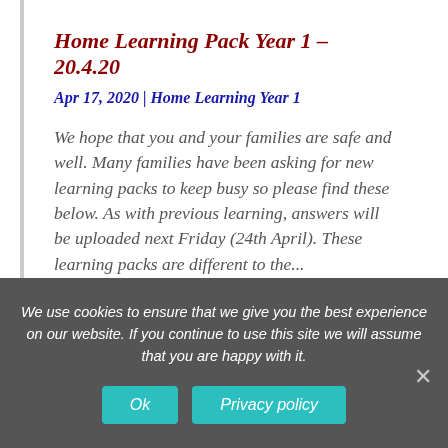Home Learning Pack Year 1 – 20.4.20
Apr 17, 2020 | Home Learning Year 1
We hope that you and your families are safe and well. Many families have been asking for new learning packs to keep busy so please find these below. As with previous learning, answers will be uploaded next Friday (24th April). These learning packs are different to the...
read more
We use cookies to ensure that we give you the best experience on our website. If you continue to use this site we will assume that you are happy with it.